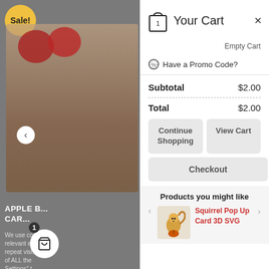[Figure (screenshot): Background showing a product page with apple basket cake card, sale badge, and navigation arrow. Partially obscured by cart overlay.]
Your Cart
Empty Cart
Have a Promo Code?
| Subtotal | $2.00 |
| Total | $2.00 |
Continue Shopping
View Cart
Checkout
Products you might like
Squirrel Pop Up Card 3D SVG